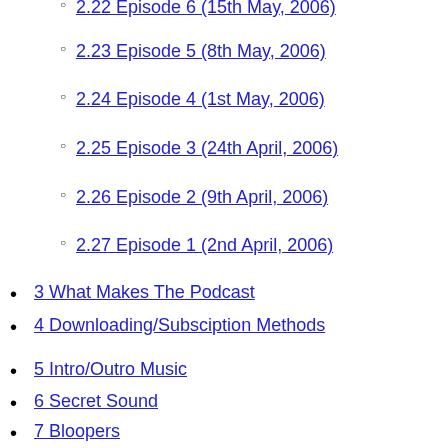2.23 Episode 5 (8th May, 2006)
2.24 Episode 4 (1st May, 2006)
2.25 Episode 3 (24th April, 2006)
2.26 Episode 2 (9th April, 2006)
2.27 Episode 1 (2nd April, 2006)
3 What Makes The Podcast
4 Downloading/Subsciption Methods
5 Intro/Outro Music
6 Secret Sound
7 Bloopers
Definition: Podcasting, a portmanteau of Apple's "iPod" and "broadcasting", is a method of publishing files to the Internet, allowing users to subscribe to a feed and receive new files automatically by subscription, usually at no cost. It first